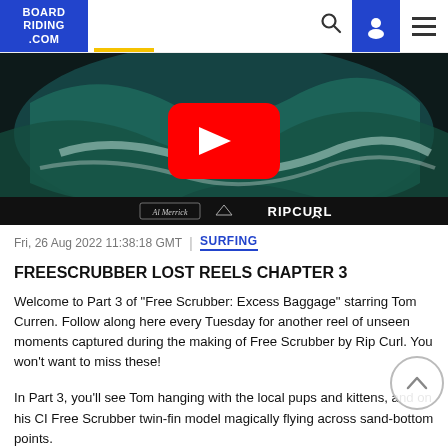BOARDRIDING.COM
[Figure (screenshot): YouTube video thumbnail of a surfer riding a large wave, with YouTube play button overlay. Bottom bar shows Al Merrick and Rip Curl branding logos.]
Fri, 26 Aug 2022 11:38:18 GMT | SURFING
FREESCRUBBER LOST REELS CHAPTER 3
Welcome to Part 3 of “Free Scrubber: Excess Baggage” starring Tom Curren. Follow along here every Tuesday for another reel of unseen moments captured during the making of Free Scrubber by Rip Curl. You won’t want to miss these!
In Part 3, you’ll see Tom hanging with the local pups and kittens, and on his CI Free Scrubber twin-fin model magically flying across sand-bottom points.